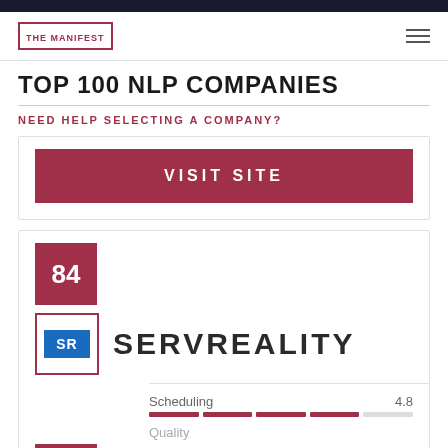THE MANIFEST
TOP 100 NLP COMPANIES
NEED HELP SELECTING A COMPANY?
VISIT SITE
84
[Figure (logo): ServReality company logo with SR initials in blue box, outlined in dark red/maroon]
SERVREALITY
Scheduling 4.8
Quality